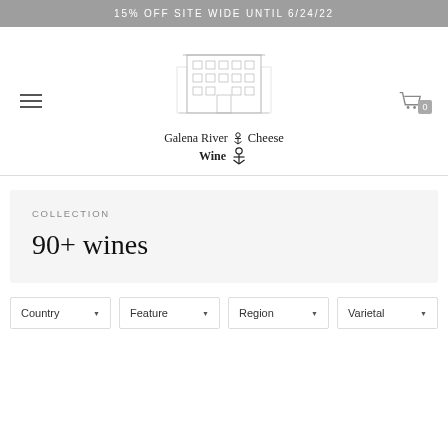15% OFF SITE WIDE UNTIL 6/24/22
[Figure (logo): Sketch illustration of a multi-story brick building with the text 'Galena River Cheese Wine' and an anchor symbol as the logo for Galena River Wine & Cheese]
COLLECTION
90+ wines
Country  Feature  Region  Varietal (filter dropdowns)